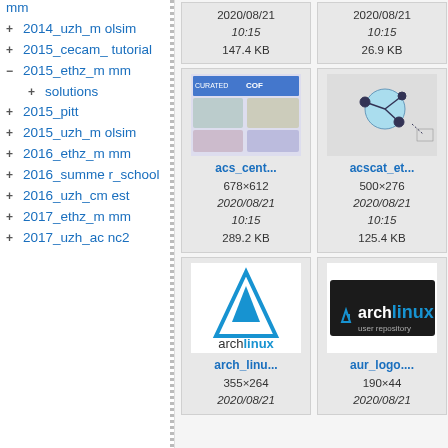mm
+ 2014_uzh_molsim
+ 2015_cecam_tutorial
- 2015_ethz_mmm
+ solutions
+ 2015_pitt
+ 2015_uzh_molsim
+ 2016_ethz_mmm
+ 2016_summer_school
+ 2016_uzh_cmest
+ 2017_ethz_mmm
+ 2017_uzh_ac nc2
[Figure (screenshot): Top row: two file cards partially visible showing dates 2020/08/21 10:15, sizes 147.4 KB and 26.9 KB]
[Figure (screenshot): acs_cent... file card with thumbnail showing CURATED COF paper, 678x612, 2020/08/21 10:15, 289.2 KB]
[Figure (screenshot): acscat_et... file card with thumbnail showing molecular diagram, 500x276, 2020/08/21 10:15, 125.4 KB]
[Figure (logo): arch_linu... file card with Arch Linux logo, 355x264, 2020/08/21]
[Figure (logo): aur_logo.... file card with Arch Linux user repository logo, 190x44, 2020/08/21]
[Figure (screenshot): c5... partial file card on right edge]